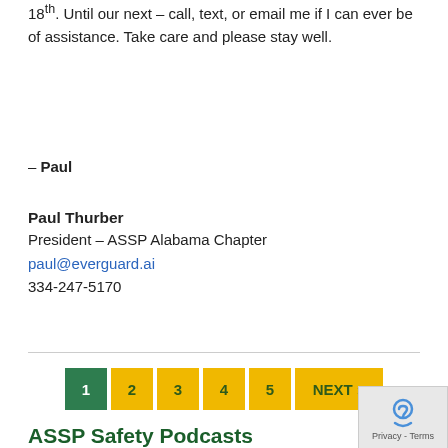18th. Until our next – call, text, or email me if I can ever be of assistance. Take care and please stay well.
– Paul
Paul Thurber
President – ASSP Alabama Chapter
paul@everguard.ai
334-247-5170
1 2 3 4 5 NEXT »
ASSP Safety Podcasts
Conducting an Effective Workplace Incident Investigation: What You Need to Know